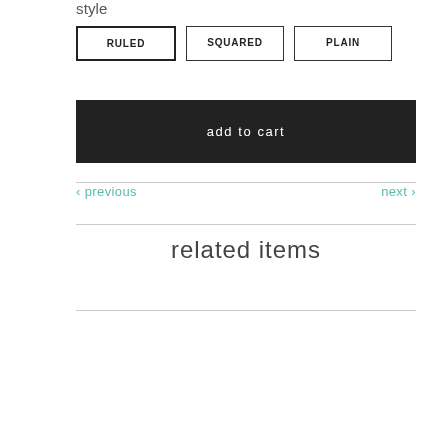style
RULED
SQUARED
PLAIN
add to cart
‹ previous
next ›
related items